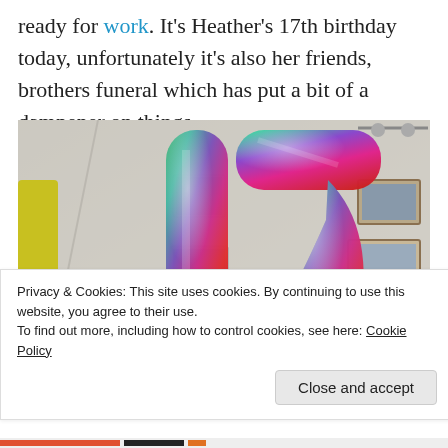ready for work. It's Heather's 17th birthday today, unfortunately it's also her friends, brothers funeral which has put a bit of a dampener on things
[Figure (photo): Large metallic rainbow foil '17' birthday balloons photographed indoors against a white wall with framed pictures and track lighting. The balloons show a gradient of green, teal, purple, pink, and red.]
Privacy & Cookies: This site uses cookies. By continuing to use this website, you agree to their use.
To find out more, including how to control cookies, see here: Cookie Policy